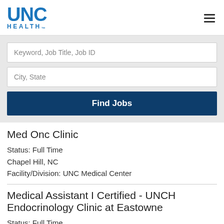[Figure (logo): UNC Health logo in blue]
Keyword, Job Title, Job ID
City, State
Find Jobs
Med Onc Clinic
Status: Full Time
Chapel Hill, NC
Facility/Division: UNC Medical Center
Medical Assistant I Certified - UNCH Endocrinology Clinic at Eastowne
Status: Full Time